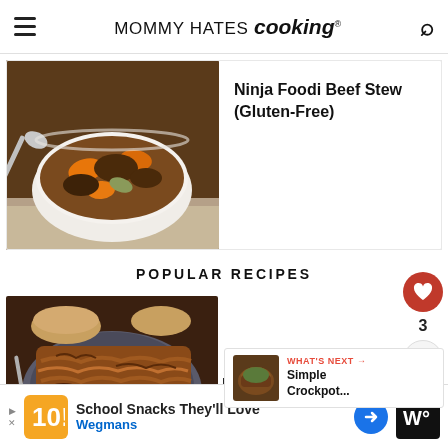MOMMY HATES cooking®
[Figure (photo): Bowl of beef stew with carrots, vegetables, and meat in broth, with a spoon]
Ninja Foodi Beef Stew (Gluten-Free)
POPULAR RECIPES
[Figure (photo): Plate of pulled pork, shredded, served on a dark plate]
Ninja Foodi Pu...
[Figure (photo): Small thumbnail of crockpot dish for What's Next section]
WHAT'S NEXT → Simple Crockpot...
School Snacks They'll Love
Weagmans